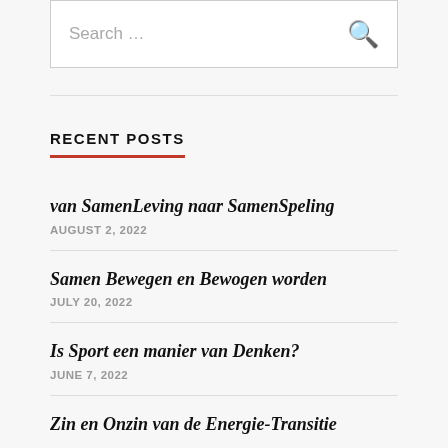Search ...
RECENT POSTS
van SamenLeving naar SamenSpeling
AUGUST 2, 2022
Samen Bewegen en Bewogen worden
JULY 20, 2022
Is Sport een manier van Denken?
JUNE 7, 2022
Zin en Onzin van de Energie-Transitie